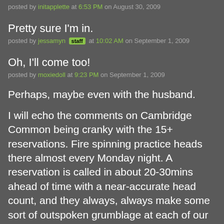posted by initapplette at 6:53 PM on August 30, 2009
Pretty sure I'm in.
posted by jessamyn [staff] at 10:02 AM on September 1, 2009
Oh, I'll come too!
posted by moxiedoll at 9:23 PM on September 1, 2009
Perhaps, maybe even with the husband.
I will echo the comments on Cambridge Common being cranky with the 15+ reservations. Fire spinning practice heads there almost every Monday night. A reservation is called in about 20-30mins ahead of time with a near-accurate head count, and they always, always make some sort of outspoken grumblage at each of our tables about